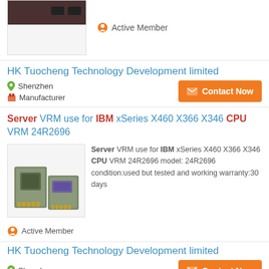[Figure (photo): Partial product image at top, dark brown/black hardware component visible at top of frame, in a bordered box]
Active Member
HK Tuocheng Technology Development limited
Shenzhen
Manufacturer
Contact Now
Server VRM use for IBM xSeries X460 X366 X346 CPU VRM 24R2696
[Figure (photo): Two server VRM modules (24R2696) shown side by side, circuit board style chips]
Server VRM use for IBM xSeries X460 X366 X346 CPU VRM 24R2696 model: 24R2696 condition:used but tested and working warranty:30 days
Active Member
HK Tuocheng Technology Development limited
Shenzhen